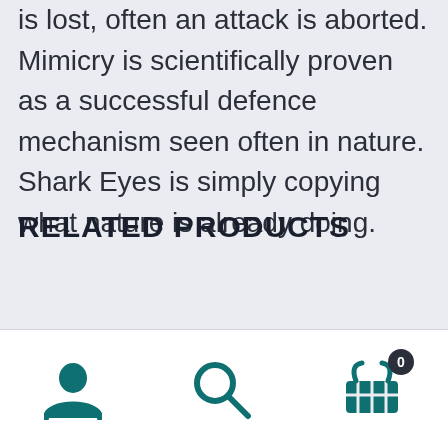is lost, often an attack is aborted. Mimicry is scientifically proven as a successful defence mechanism seen often in nature. Shark Eyes is simply copying what nature is already doing.
RELATED PRODUCTS
User icon, Search icon, Cart icon with badge 0